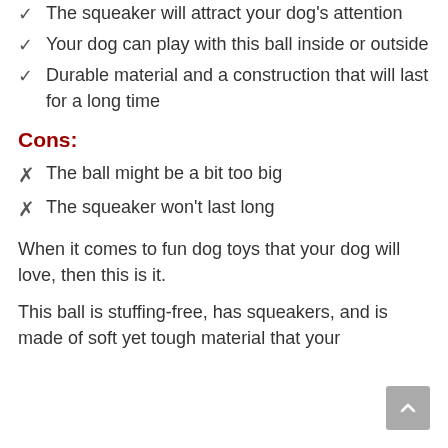The squeaker will attract your dog's attention
Your dog can play with this ball inside or outside
Durable material and a construction that will last for a long time
Cons:
The ball might be a bit too big
The squeaker won't last long
When it comes to fun dog toys that your dog will love, then this is it.
This ball is stuffing-free, has squeakers, and is made of soft yet tough material that your